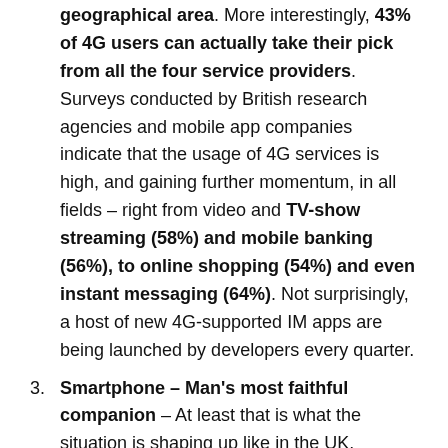geographical area. More interestingly, 43% of 4G users can actually take their pick from all the four service providers. Surveys conducted by British research agencies and mobile app companies indicate that the usage of 4G services is high, and gaining further momentum, in all fields – right from video and TV-show streaming (58%) and mobile banking (56%), to online shopping (54%) and even instant messaging (64%). Not surprisingly, a host of new 4G-supported IM apps are being launched by developers every quarter.
Smartphone – Man's most faithful companion – At least that is what the situation is shaping up like in the UK. Glancing at the smartphone screen is something that people here do very frequently, and at practically any place. Almost 50% people keep looking at their phone even while having a chat with friends, well over 60% professionals check their handsets while at work, and approximately